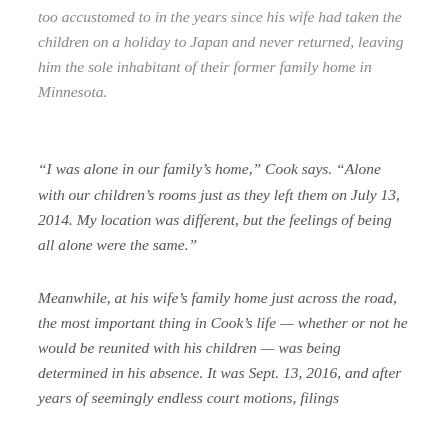too accustomed to in the years since his wife had taken the children on a holiday to Japan and never returned, leaving him the sole inhabitant of their former family home in Minnesota.
“I was alone in our family’s home,” Cook says. “Alone with our children’s rooms just as they left them on July 13, 2014. My location was different, but the feelings of being all alone were the same.”
Meanwhile, at his wife’s family home just across the road, the most important thing in Cook’s life — whether or not he would be reunited with his children — was being determined in his absence. It was Sept. 13, 2016, and after years of seemingly endless court motions, filings